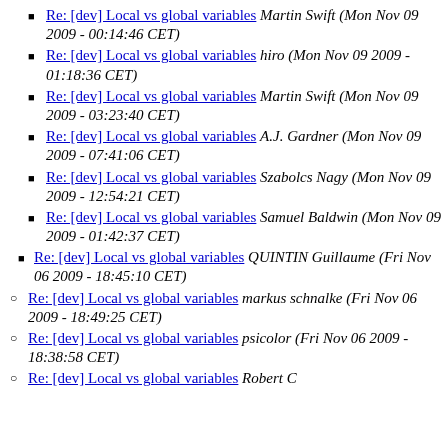Re: [dev] Local vs global variables Martin Swift (Mon Nov 09 2009 - 00:14:46 CET)
Re: [dev] Local vs global variables hiro (Mon Nov 09 2009 - 01:18:36 CET)
Re: [dev] Local vs global variables Martin Swift (Mon Nov 09 2009 - 03:23:40 CET)
Re: [dev] Local vs global variables A.J. Gardner (Mon Nov 09 2009 - 07:41:06 CET)
Re: [dev] Local vs global variables Szabolcs Nagy (Mon Nov 09 2009 - 12:54:21 CET)
Re: [dev] Local vs global variables Samuel Baldwin (Mon Nov 09 2009 - 01:42:37 CET)
Re: [dev] Local vs global variables QUINTIN Guillaume (Fri Nov 06 2009 - 18:45:10 CET)
Re: [dev] Local vs global variables markus schnalke (Fri Nov 06 2009 - 18:49:25 CET)
Re: [dev] Local vs global variables psicolor (Fri Nov 06 2009 - 18:38:58 CET)
Re: [dev] Local vs global variables Robert C